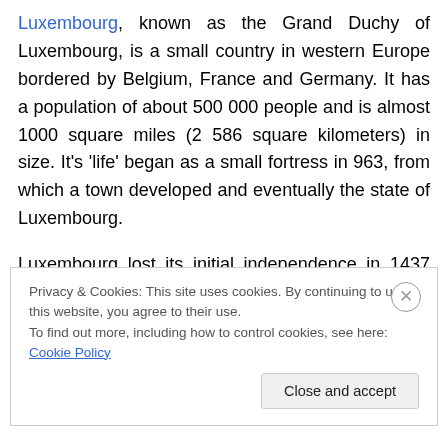Luxembourg, known as the Grand Duchy of Luxembourg, is a small country in western Europe bordered by Belgium, France and Germany. It has a population of about 500 000 people and is almost 1000 square miles (2 586 square kilometers) in size. It's 'life' began as a small fortress in 963, from which a town developed and eventually the state of Luxembourg.
Luxembourg lost its initial independence in 1437 and from that point it was ruled by various states, but regained a form of independence following the defeat of Napoleon in
Privacy & Cookies: This site uses cookies. By continuing to use this website, you agree to their use.
To find out more, including how to control cookies, see here: Cookie Policy